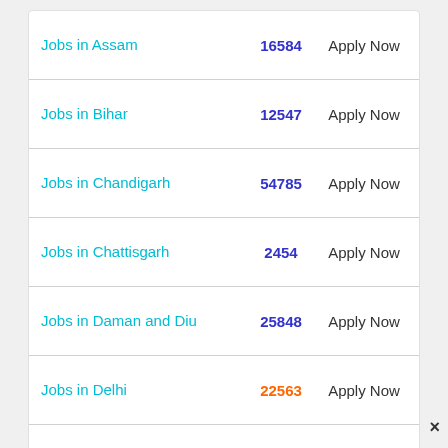| Location | Count | Action |
| --- | --- | --- |
| Jobs in Assam | 16584 | Apply Now |
| Jobs in Bihar | 12547 | Apply Now |
| Jobs in Chandigarh | 54785 | Apply Now |
| Jobs in Chattisgarh | 2454 | Apply Now |
| Jobs in Daman and Diu | 25848 | Apply Now |
| Jobs in Delhi | 22563 | Apply Now |
| Jobs in Goa | 33254 | Apply Now |
| Jobs in Gujarat | 45852 | Apply Now |